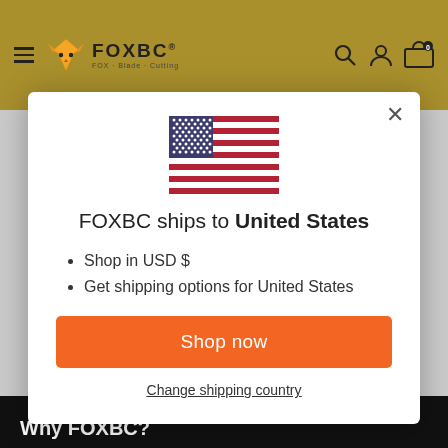[Figure (screenshot): FOXBC e-commerce website header with golden background, hamburger menu, fox logo, FOXBC text, search, account, and cart icons]
[Figure (illustration): United States flag emoji/icon centered in modal]
FOXBC ships to United States
Shop in USD $
Get shipping options for United States
Shop now
Change shipping country